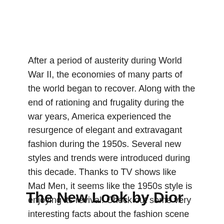After a period of austerity during World War II, the economies of many parts of the world began to recover. Along with the end of rationing and frugality during the war years, America experienced the resurgence of elegant and extravagant fashion during the 1950s. Several new styles and trends were introduced during this decade. Thanks to TV shows like Mad Men, it seems like the 1950s style is enjoying its revival. Check out some very interesting facts about the fashion scene of this iconic decade:
The New Look by Dior